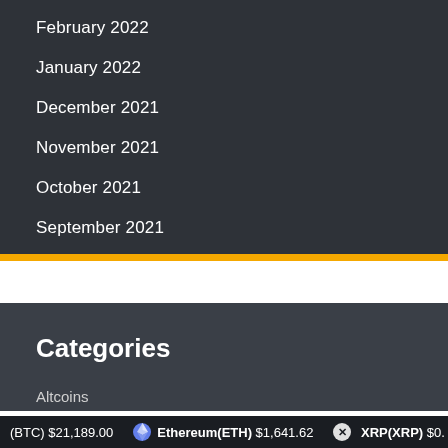February 2022
January 2022
December 2021
November 2021
October 2021
September 2021
Categories
Altcoins
(BTC) $21,189.00   Ethereum(ETH) $1,641.62   XRP(XRP) $0.